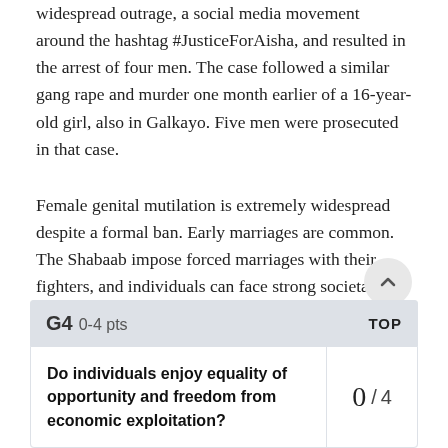widespread outrage, a social media movement around the hashtag #JusticeForAisha, and resulted in the arrest of four men. The case followed a similar gang rape and murder one month earlier of a 16-year-old girl, also in Galkayo. Five men were prosecuted in that case.
Female genital mutilation is extremely widespread despite a formal ban. Early marriages are common. The Shabaab impose forced marriages with their fighters, and individuals can face strong societal pressure to marry or not marry within certain clans.
| G4  0-4 pts | TOP |
| --- | --- |
| Do individuals enjoy equality of opportunity and freedom from economic exploitation? | 0/4 |